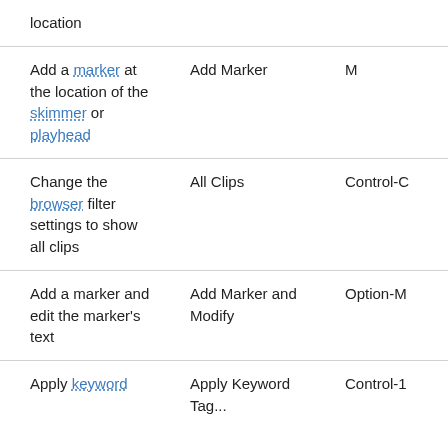| Action | Menu item | Shortcut |
| --- | --- | --- |
| location |  |  |
| Add a marker at the location of the skimmer or playhead | Add Marker | M |
| Change the browser filter settings to show all clips | All Clips | Control-C |
| Add a marker and edit the marker's text | Add Marker and Modify | Option-M |
| Apply keyword to the... | Apply Keyword Tag... | Control-1 |